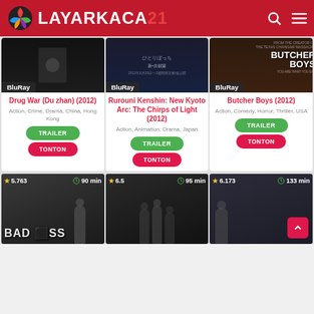LAYARKACA21
[Figure (screenshot): Movie card: Drug War (Du zhan) (2012) - BluRay badge, Action, Crime, Drama, China, Hong Kong, with TRAILER and TONTON buttons]
[Figure (screenshot): Movie card: Rurouni Kenshin: New Kyoto Arc: The Chirps of Light (2012) - BluRay badge, Action, Animation, Drama, Japan, with TRAILER and TONTON buttons]
[Figure (screenshot): Movie card: Butcher Boys (2012) - BluRay badge, Action, Comedy, Horror, Thriller, USA, with TRAILER and TONTON buttons]
[Figure (screenshot): Bottom thumbnail: rating 5.763, 90 min, BAD ASS movie poster]
[Figure (screenshot): Bottom thumbnail: rating 6.5, 95 min]
[Figure (screenshot): Bottom thumbnail: rating 6.173, 133 min]